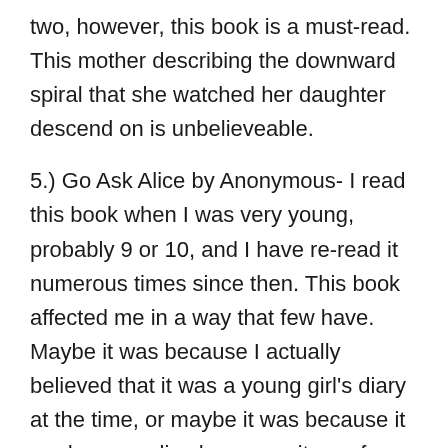two, however, this book is a must-read. This mother describing the downward spiral that she watched her daughter descend on is unbelieveable.
5.) Go Ask Alice by Anonymous- I read this book when I was very young, probably 9 or 10, and I have re-read it numerous times since then. This book affected me in a way that few have. Maybe it was because I actually believed that it was a young girl's diary at the time, or maybe it was because it made me realize how easy it was for your life to take a devasting turn because of a poor decision.